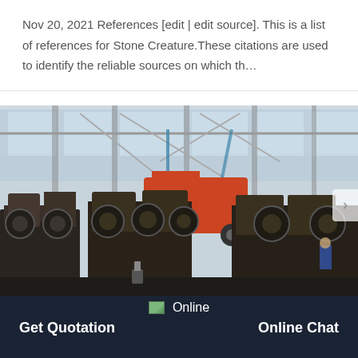Nov 20, 2021 References [edit | edit source]. This is a list of references for Stone Creature. These citations are used to identify the reliable sources on which th…
[Figure (photo): Industrial factory interior showing heavy machinery, metal frames, wheel assemblies, and structural steel components on a shop floor with large windows and overhead cranes in background.]
Online  Get Quotation  Online Chat